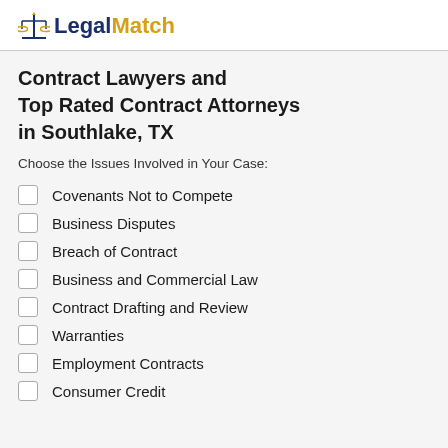LegalMatch
Contract Lawyers and Top Rated Contract Attorneys in Southlake, TX
Choose the Issues Involved in Your Case:
Covenants Not to Compete
Business Disputes
Breach of Contract
Business and Commercial Law
Contract Drafting and Review
Warranties
Employment Contracts
Consumer Credit